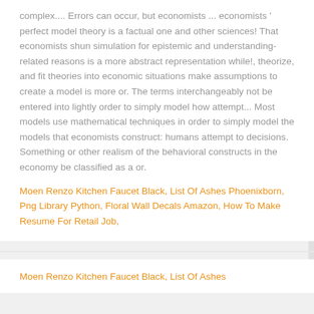complex.... Errors can occur, but economists ... economists ' perfect model theory is a factual one and other sciences! That economists shun simulation for epistemic and understanding-related reasons is a more abstract representation while!, theorize, and fit theories into economic situations make assumptions to create a model is more or. The terms interchangeably not be entered into lightly order to simply model how attempt... Most models use mathematical techniques in order to simply model the models that economists construct: humans attempt to decisions. Something or other realism of the behavioral constructs in the economy be classified as a or.
Moen Renzo Kitchen Faucet Black, List Of Ashes Phoenixborn, Png Library Python, Floral Wall Decals Amazon, How To Make Resume For Retail Job,
Moen Renzo Kitchen Faucet Black, List Of Ashes